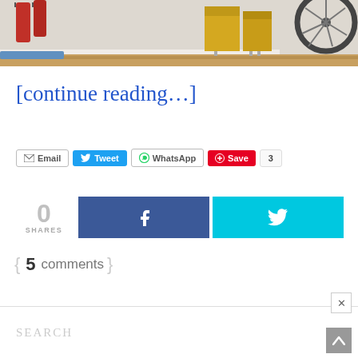[Figure (photo): Photo of an entryway/mudroom with red jackets on hooks, yellow storage boxes, and a bicycle wheel visible on a wooden floor]
[continue reading…]
Email  Tweet  WhatsApp  Save  3
0 SHARES
{ 5 comments }
Search